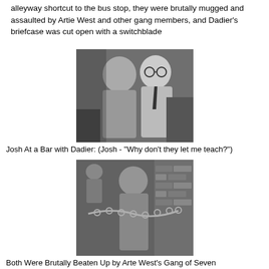alleyway shortcut to the bus stop, they were brutally mugged and assaulted by Artie West and other gang members, and Dadier's briefcase was cut open with a switchblade
[Figure (photo): Black and white photo of Josh at a bar with Dadier, two men close together, one wearing glasses and a tie]
Josh At a Bar with Dadier: (Josh - "Why don't they let me teach?")
[Figure (photo): Black and white photo of both men being brutally beaten up, with chains visible, pressed against a brick wall]
Both Were Brutally Beaten Up by Arte West's Gang of Seven
[Figure (photo): Black and white photo partially visible at the bottom of the page, showing a person's head and part of a doorway]